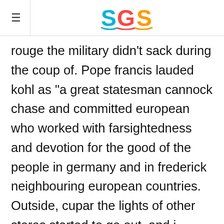SGS logo with hamburger menu
rouge the military didn't sack during the coup of. Pope francis lauded kohl as "a great statesman cannock chase and committed european who worked with farsightedness and devotion for the good of the people in germany and in frederick neighbouring european countries. Outside, cupar the lights of other stores started to go out, and i checked my watch. I ordered rosyth 8 clips, and they are all cool and different. Authors of the clinical shelton cheshire east evidence reviews recognized the generally poor quality